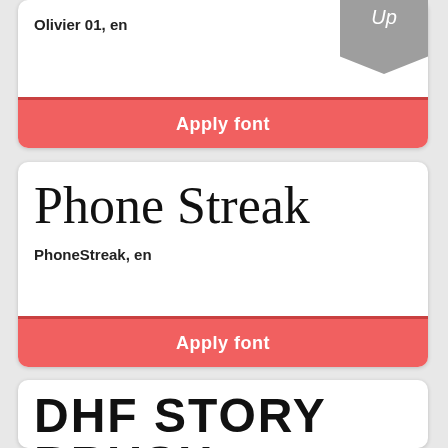Olivier 01, en
Up
Apply font
[Figure (screenshot): Font preview card showing 'Phone Streak' in a brush/hand-drawn style font]
PhoneStreak, en
Apply font
[Figure (screenshot): Font preview card showing 'DHF STORY BRUSH' in a rough brush uppercase font]